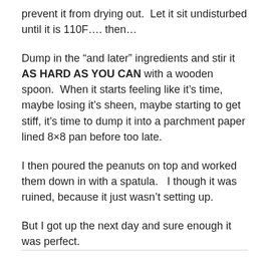prevent it from drying out.  Let it sit undisturbed until it is 110F…. then…
Dump in the “and later” ingredients and stir it AS HARD AS YOU CAN with a wooden spoon.  When it starts feeling like it’s time, maybe losing it’s sheen, maybe starting to get stiff, it’s time to dump it into a parchment paper lined 8×8 pan before too late.
I then poured the peanuts on top and worked them down in with a spatula.   I though it was ruined, because it just wasn’t setting up.
But I got up the next day and sure enough it was perfect.